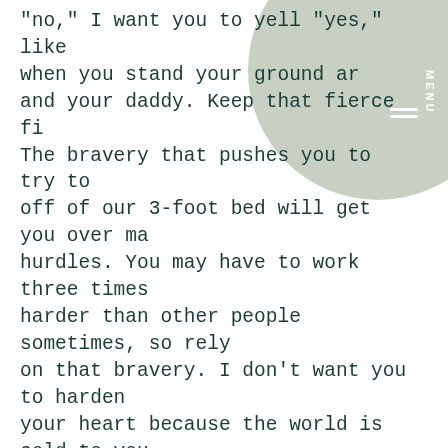“no,” I want you to yell “yes,” like when you stand your ground and your daddy. Keep that fierce fi… The bravery that pushes you to try to off of our 3-foot bed will get you over ma… hurdles. You may have to work three times harder than other people sometimes, so rely on that bravery. I don’t want you to harden your heart because the world is cold to you. Every time someone hurts you, heal your heart, forgive them (and forget them), and then remember not to make someone else feel that same pain. In such a scary world: Be kind. Be patient. Be giving. But take care of yourself; don’t ever forget yourself or let someone make you forget your value. Befriend the kid that is being bullied in school. Speak up for the voiceless. Make your mark on this world so that your beauty shines bright on the surface of e…